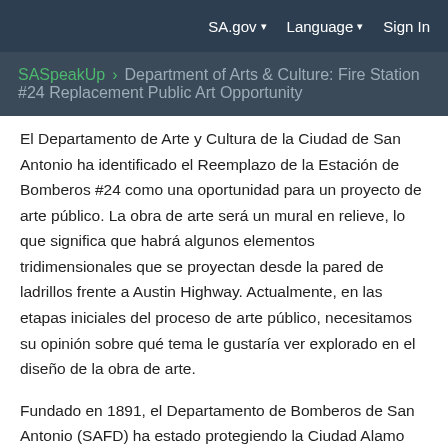SA.gov   Language   Sign In
SASpeakUp > Department of Arts & Culture: Fire Station #24 Replacement Public Art Opportunity
El Departamento de Arte y Cultura de la Ciudad de San Antonio ha identificado el Reemplazo de la Estación de Bomberos #24 como una oportunidad para un proyecto de arte público. La obra de arte será un mural en relieve, lo que significa que habrá algunos elementos tridimensionales que se proyectan desde la pared de ladrillos frente a Austin Highway. Actualmente, en las etapas iniciales del proceso de arte público, necesitamos su opinión sobre qué tema le gustaría ver explorado en el diseño de la obra de arte.
Fundado en 1891, el Departamento de Bomberos de San Antonio (SAFD) ha estado protegiendo la Ciudad Alamo durante más de 130 años. Hoy, SAFD tiene más de 1,000 oficiales uniformados en 51 estaciones de bomberos que